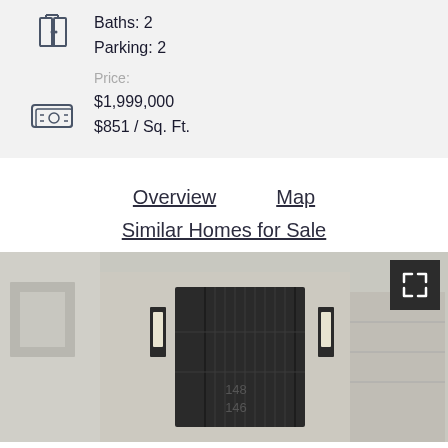Baths: 2
Parking: 2
Price:
$1,999,000
$851 / Sq. Ft.
Overview
Map
Similar Homes for Sale
[Figure (photo): Exterior photo of residential building entrance with ornate iron gate door, address numbers 148 and 146 visible, wall sconce lights on either side, and partial view of garage door to the right.]